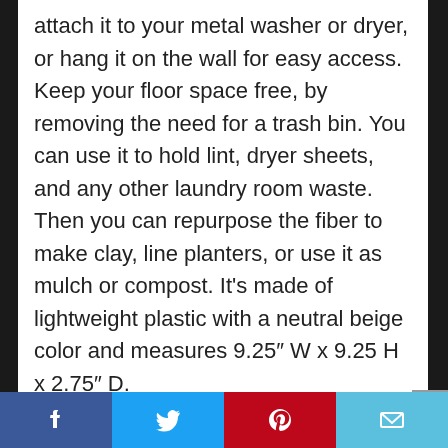attach it to your metal washer or dryer, or hang it on the wall for easy access. Keep your floor space free, by removing the need for a trash bin. You can use it to hold lint, dryer sheets, and any other laundry room waste. Then you can repurpose the fiber to make clay, line planters, or use it as mulch or compost. It’s made of lightweight plastic with a neutral beige color and measures 9.25″ W x 9.25 H x 2.75″ D.
10. Whitmor Commercial Rolling Laundry Butler with Wire Storage Rack